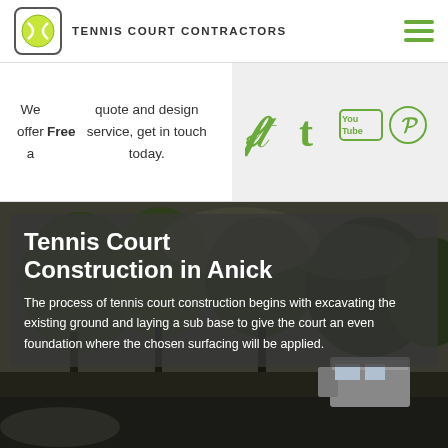TENNIS COURT CONTRACTORS
We offer a Free quote and design service, get in touch today.
[Figure (logo): Social media icons: Twitter, Tumblr, YouTube, Pinterest in green]
[Figure (photo): Outdoor tennis court construction site with trees in background]
Tennis Court Construction in Anick
The process of tennis court construction begins with excavating the existing ground and laying a sub base to give the court an even foundation where the chosen surfacing will be applied.